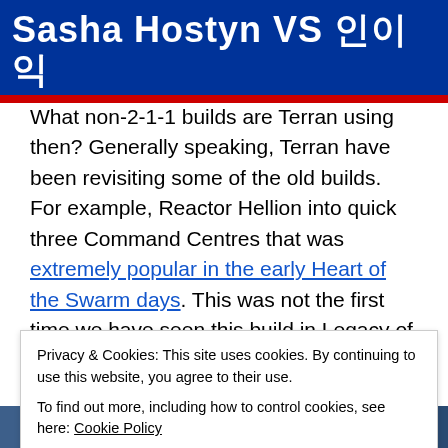Sasha Hostyn VS 인이익
What non-2-1-1 builds are Terran using then? Generally speaking, Terran have been revisiting some of the old builds. For example, Reactor Hellion into quick three Command Centres that was extremely popular in the early Heart of the Swarm days. This was not the first time we have seen this build in Legacy of the Void as INnoVation had used it a year ago when Legacy of the Void was still fresh. He again used this build in three of his four GSL Ro32 games (he advanced with a total score of 4-0), see the
Privacy & Cookies: This site uses cookies. By continuing to use this website, you agree to their use.
To find out more, including how to control cookies, see here: Cookie Policy
[Figure (photo): Photo strip of players at bottom of page]